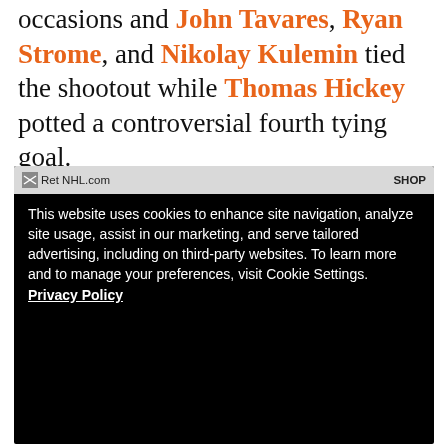occasions and John Tavares, Ryan Strome, and Nikolay Kulemin tied the shootout while Thomas Hickey potted a controversial fourth tying goal.
[Figure (screenshot): A website screenshot showing a cookie consent overlay on a dark background with a browser navigation bar showing a hockey-related website. The cookie notice reads: 'This website uses cookies to enhance site navigation, analyze site usage, assist in our marketing, and serve tailored advertising, including on third-party websites. To learn more and to manage your preferences, visit Cookie Settings. Privacy Policy']
Looking To the Kings
The Islanders finally potted away two points and a crucial win against a good team last night on Tuesday. If they want to continue to resuscitate their season there's no room for them to let up on the